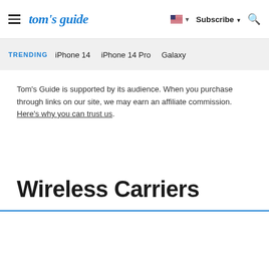tom's guide — Subscribe — Search
TRENDING — iPhone 14 — iPhone 14 Pro — Galaxy
Tom's Guide is supported by its audience. When you purchase through links on our site, we may earn an affiliate commission. Here's why you can trust us.
Wireless Carriers